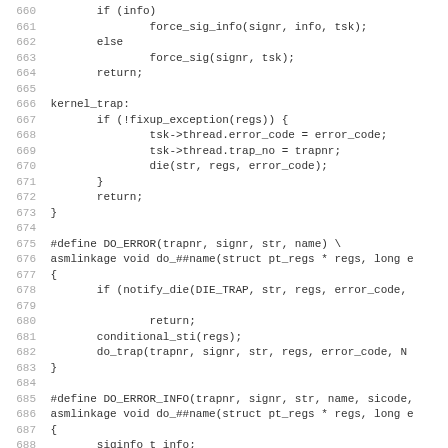Source code listing, lines 660–691
660		if (info)
661			force_sig_info(signr, info, tsk);
662		else
663			force_sig(signr, tsk);
664		return;
665
666 kernel_trap:
667		if (!fixup_exception(regs)) {
668			tsk->thread.error_code = error_code;
669			tsk->thread.trap_no = trapnr;
670			die(str, regs, error_code);
671		}
672		return;
673 }
674
675 #define DO_ERROR(trapnr, signr, str, name) \
676 asmlinkage void do_##name(struct pt_regs * regs, long e
677 {
678		if (notify_die(DIE_TRAP, str, regs, error_code,
679
680			return;
681		conditional_sti(regs);
682		do_trap(trapnr, signr, str, regs, error_code, N
683 }
684
685 #define DO_ERROR_INFO(trapnr, signr, str, name, sicode,
686 asmlinkage void do_##name(struct pt_regs * regs, long e
687 {
688		siginfo_t info;
689		info.si_signo = signr;
690		info.si_errno = 0;
691		info.si_code = sicode;